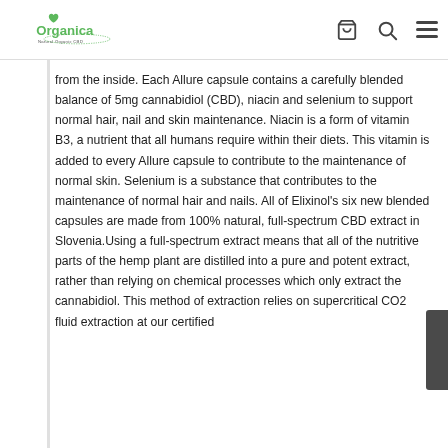Organica Natural Organic CBD
from the inside. Each Allure capsule contains a carefully blended balance of 5mg cannabidiol (CBD), niacin and selenium to support normal hair, nail and skin maintenance. Niacin is a form of vitamin B3, a nutrient that all humans require within their diets. This vitamin is added to every Allure capsule to contribute to the maintenance of normal skin. Selenium is a substance that contributes to the maintenance of normal hair and nails. All of Elixinol's six new blended capsules are made from 100% natural, full-spectrum CBD extract in Slovenia.Using a full-spectrum extract means that all of the nutritive parts of the hemp plant are distilled into a pure and potent extract, rather than relying on chemical processes which only extract the cannabidiol. This method of extraction relies on supercritical CO2 fluid extraction at our certified